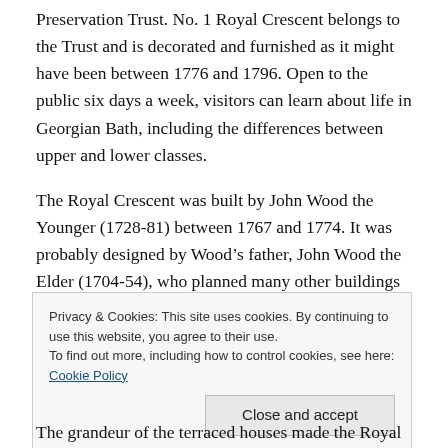Preservation Trust. No. 1 Royal Crescent belongs to the Trust and is decorated and furnished as it might have been between 1776 and 1796. Open to the public six days a week, visitors can learn about life in Georgian Bath, including the differences between upper and lower classes.
The Royal Crescent was built by John Wood the Younger (1728-81) between 1767 and 1774. It was probably designed by Wood's father, John Wood the Elder (1704-54), who planned many other buildings in Bath before his death, including Circus Square and the Circus Bath...
Privacy & Cookies: This site uses cookies. By continuing to use this website, you agree to their use.
To find out more, including how to control cookies, see here: Cookie Policy
The grandeur of the terraced houses made the Royal